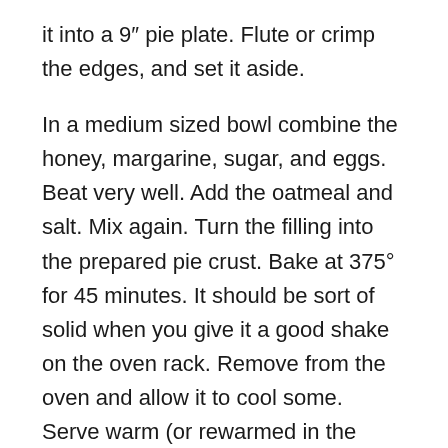it into a 9″ pie plate. Flute or crimp the edges, and set it aside.
In a medium sized bowl combine the honey, margarine, sugar, and eggs. Beat very well. Add the oatmeal and salt. Mix again. Turn the filling into the prepared pie crust. Bake at 375° for 45 minutes. It should be sort of solid when you give it a good shake on the oven rack. Remove from the oven and allow it to cool some. Serve warm (or rewarmed in the microwave) with ice cream or Whipped Topping.
This is an old fashioned southern recipe that resembles pecan pie, although it is much (MUCH!) cheaper to make. Some cooks add